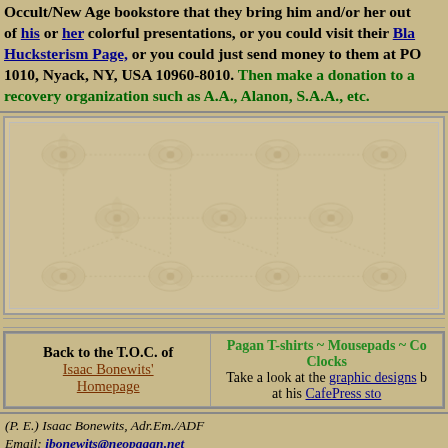Occult/New Age bookstore that they bring him and/or her out of his or her colorful presentations, or you could visit their Blatant Hucksterism Page, or you could just send money to them at PO 1010, Nyack, NY, USA 10960-8010. Then make a donation to a recovery organization such as A.A., Alanon, S.A.A., etc.
[Figure (illustration): Decorative ornamental background panel with floral/arabesque pattern in tan and beige tones]
| Back to the T.O.C. of Isaac Bonewits' Homepage | Pagan T-shirts ~ Mousepads ~ Coffee Mugs ~ Clocks
Take a look at the graphic designs by Phaedra at his CafePress store! |
(P. E.) Isaac Bonewits, Adr.Em./ADF
Email: ibonewits@neopagan.net
Snailmail: PO Box 1010, Nyack, NY, USA 10960-8010
This webpage is copyright © 2002 c.e., Isaac Bonewits
Most recently updated: August 11, 2006 c.e.